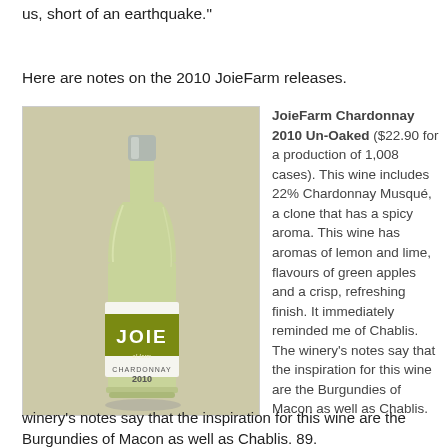us, short of an earthquake."
Here are notes on the 2010 JoieFarm releases.
[Figure (photo): A bottle of JoieFarm Chardonnay 2010 Un-Oaked wine with a green JOIE label, silver screw cap, on a light beige/grey background.]
JoieFarm Chardonnay 2010 Un-Oaked ($22.90 for a production of 1,008 cases). This wine includes 22% Chardonnay Musqué, a clone that has a spicy aroma. This wine has aromas of lemon and lime, flavours of green apples and a crisp, refreshing finish. It immediately reminded me of Chablis. The winery's notes say that the inspiration for this wine are the Burgundies of Macon as well as Chablis. 89.